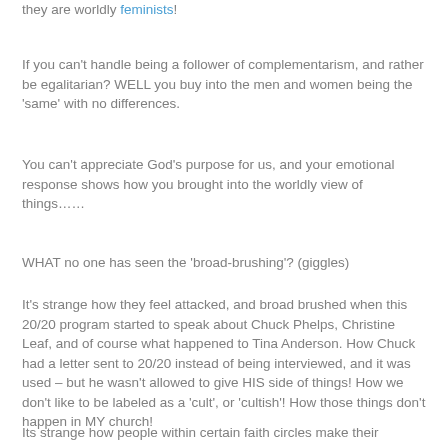they are worldly feminists!
If you can't handle being a follower of complementarism, and rather be egalitarian?  WELL you buy into the men and women being the 'same' with no differences.
You can't appreciate God's purpose for us, and your emotional response shows how you brought into the worldly view of things……
WHAT no one has seen the 'broad-brushing'?  (giggles)
It's strange how they feel attacked, and broad brushed when this 20/20 program started to speak about Chuck Phelps, Christine Leaf, and of course what happened to Tina Anderson.  How Chuck had a letter sent to 20/20 instead of being interviewed, and it was used – but he wasn't allowed to give HIS side of things!  How we don't like to be labeled as a 'cult', or 'cultish'!  How those things don't happen in MY church!
Its strange how people within certain faith circles make their